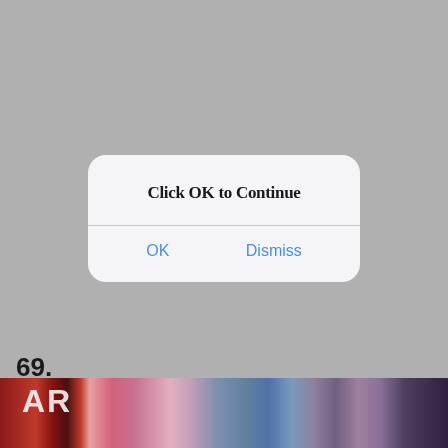[Figure (screenshot): iOS-style alert dialog box with white rounded rectangle on grey background. Title reads 'Click OK to Continue' in bold serif font. Two blue text buttons: 'OK' on left and 'Dismiss' on right, separated by a horizontal divider line.]
69.
[Figure (photo): Bottom strip of a photo showing people at what appears to be a TV show or event, with red background elements visible on the left including letters 'AR', and people dressed in colorful attire.]